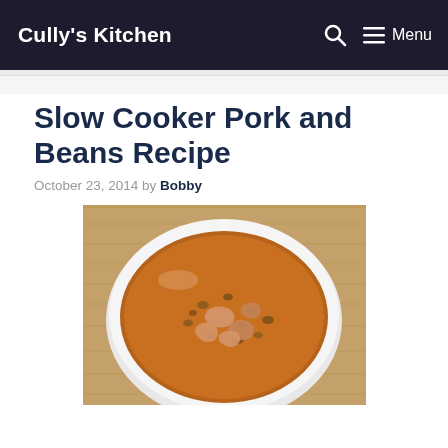Cully's Kitchen
Slow Cooker Pork and Beans Recipe
October 23, 2014 by Bobby
[Figure (photo): A white bowl filled with slow cooker pork and beans — a thick brown broth with shredded pork pieces and whole beans, served on a wooden surface.]